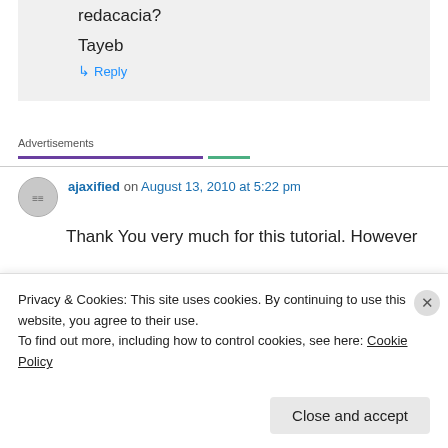redacacia?
Tayeb
↳ Reply
Advertisements
ajaxified on August 13, 2010 at 5:22 pm
Thank You very much for this tutorial. However
Privacy & Cookies: This site uses cookies. By continuing to use this website, you agree to their use.
To find out more, including how to control cookies, see here: Cookie Policy
Close and accept